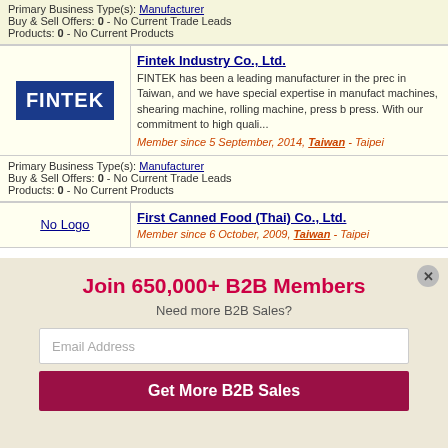Primary Business Type(s): Manufacturer
Buy & Sell Offers: 0 - No Current Trade Leads
Products: 0 - No Current Products
Fintek Industry Co., Ltd.
FINTEK has been a leading manufacturer in the prec in Taiwan, and we have special expertise in manufact machines, shearing machine, rolling machine, press b press. With our commitment to high quali...
Member since 5 September, 2014, Taiwan - Taipei
Primary Business Type(s): Manufacturer
Buy & Sell Offers: 0 - No Current Trade Leads
Products: 0 - No Current Products
First Canned Food (Thai) Co., Ltd.
Member since 6 October, 2009, Taiwan - Taipei
Join 650,000+ B2B Members
Need more B2B Sales?
Email Address
Get More B2B Sales